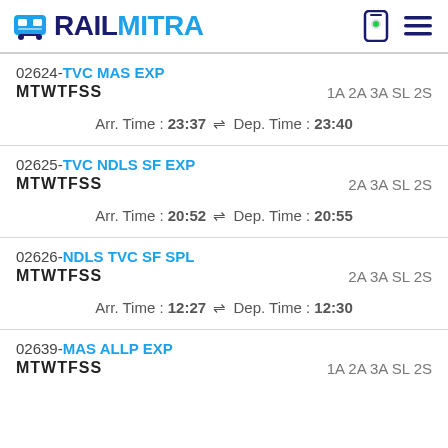RAILMITRA
02624-TVC MAS EXP | MTWTFSS | 1A 2A 3A SL 2S | Arr. Time : 23:37 ⇌ Dep. Time : 23:40
02625-TVC NDLS SF EXP | MTWTFSS | 2A 3A SL 2S | Arr. Time : 20:52 ⇌ Dep. Time : 20:55
02626-NDLS TVC SF SPL | MTWTFSS | 2A 3A SL 2S | Arr. Time : 12:27 ⇌ Dep. Time : 12:30
02639-MAS ALLP EXP | MTWTFSS | 1A 2A 3A SL 2S